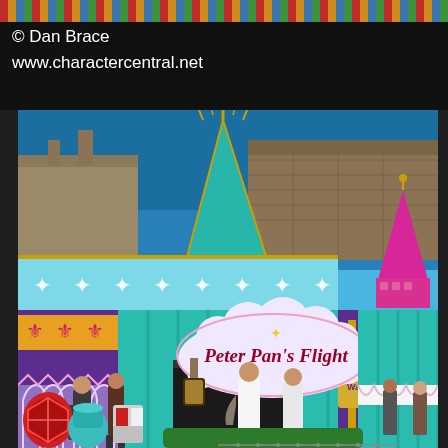© Dan Brace
www.charactercentral.net
[Figure (photo): Photo of Peter Pan's Flight ride entrance at a Disney theme park. The building features a colorful facade with teal, purple, lavender, and gold colors. A large sign reads 'Peter Pan's Flight' in red script lettering surrounded by white fluffy clouds. The building has a tall teal pyramid-shaped roof with a golden pirate ship weathervane on top. The facade is decorated with white snowflake-like patterns on a light blue band. Visitors are standing in line at the entrance below. Medieval-themed decorative elements including shields and a gold sign post are visible at ground level.]